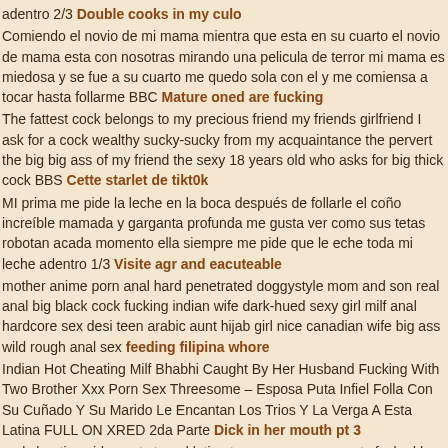adentro 2/3 Double cooks in my culo
Comiendo el novio de mi mama mientra que esta en su cuarto el novio de mama esta con nosotras mirando una pelicula de terror mi mama es miedosa y se fue a su cuarto me quedo sola con el y me comiensa a tocar hasta follarme BBC Mature oned are fucking
The fattest cock belongs to my precious friend my friends girlfriend I ask for a cock wealthy sucky-sucky from my acquaintance the pervert the big big ass of my friend the sexy 18 years old who asks for big thick cock BBS Cette starlet de tikt0k
MI prima me pide la leche en la boca despu&eacute;s de follarle el co&ntilde;o incre&iacute;ble mamada y garganta profunda me gusta ver como sus tetas robodan acada momento ella siempre me pide que le eche toda mi leche adentro 1/3 Visite agr and eacuteable
mother anime porn anal hard penetrated doggystyle mom and son real anal big black cock fucking indian wife dark-hued sexy girl milf anal hardcore sex desi teen arabic aunt hijab girl nice canadian wife big ass wild rough anal sex feeding filipina whore
Indian Hot Cheating Milf Bhabhi Caught By Her Husband Fucking With Two Brother Xxx Porn Sex Threesome – Esposa Puta Infiel Folla Con Su Cu&ntilde;ado Y Su Marido Le Encantan Los Trios Y La Verga A Esta Latina FULL ON XRED 2da Parte Dick in her mouth pt 3
real cheating video not staged latina teen vanesa ugaz gets fucked by